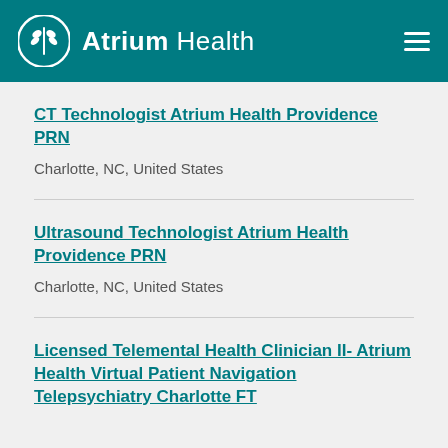Atrium Health
CT Technologist Atrium Health Providence PRN
Charlotte, NC, United States
Ultrasound Technologist Atrium Health Providence PRN
Charlotte, NC, United States
Licensed Telemental Health Clinician II- Atrium Health Virtual Patient Navigation Telepsychiatry Charlotte FT